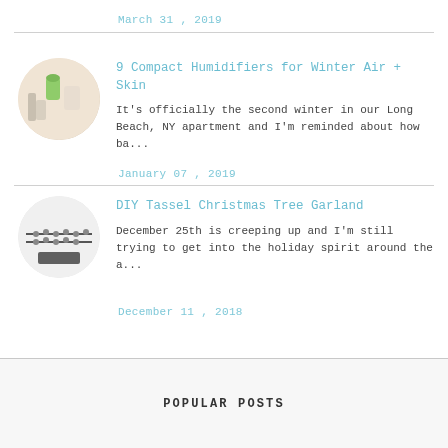March 31 , 2019
[Figure (photo): Circular thumbnail photo of humidifiers and products on shelf]
9 Compact Humidifiers for Winter Air + Skin
It's officially the second winter in our Long Beach, NY apartment and I'm reminded about how ba...
January 07 , 2019
[Figure (photo): Circular thumbnail photo of DIY tassel Christmas tree garland on wall]
DIY Tassel Christmas Tree Garland
December 25th is creeping up and I'm still trying to get into the holiday spirit around the a...
December 11 , 2018
POPULAR POSTS